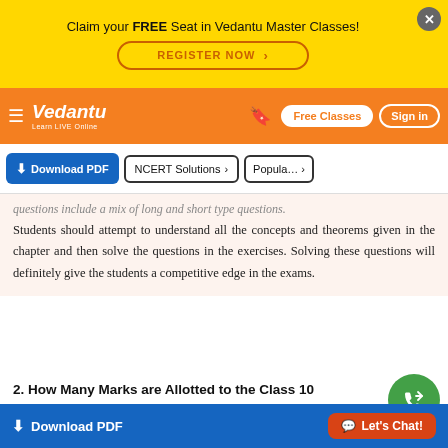Claim your FREE Seat in Vedantu Master Classes! REGISTER NOW
Vedantu Learn LIVE Online — Free Classes | Sign in
questions include a mix of long and short type questions. Students should attempt to understand all the concepts and theorems given in the chapter and then solve the questions in the exercises. Solving these questions will definitely give the students a competitive edge in the exams.
2. How Many Marks are Allotted to the Class 10 Maths Chapter 6 Triangles in the Board Exam?
3. Which are the Important Topics to Remember
Download PDF   Let's Chat!